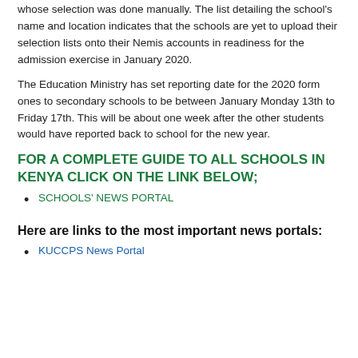whose selection was done manually. The list detailing the school's name and location indicates that the schools are yet to upload their selection lists onto their Nemis accounts in readiness for the admission exercise in January 2020.
The Education Ministry has set reporting date for the 2020 form ones to secondary schools to be between January Monday 13th to Friday 17th. This will be about one week after the other students would have reported back to school for the new year.
FOR A COMPLETE GUIDE TO ALL SCHOOLS IN KENYA CLICK ON THE LINK BELOW;
SCHOOLS' NEWS PORTAL
Here are links to the most important news portals:
KUCCPS News Portal